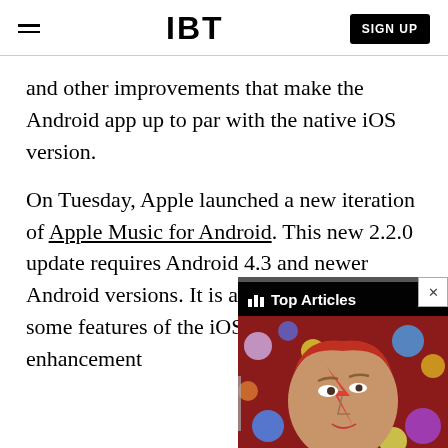IBT | SIGN UP
and other improvements that make the Android app up to par with the native iOS version.
On Tuesday, Apple launched a new iteration of Apple Music for Android. This new 2.2.0 update requires Android 4.3 and newer Android versions. It is also designed to bring some features of the iOS app and other enhancements counterpart.
[Figure (screenshot): Overlay widget showing Top Articles label with a photo of David Bowie (Ziggy Stardust makeup) on a red background with colorful spheres, with a close button (X) and three-dot menu.]